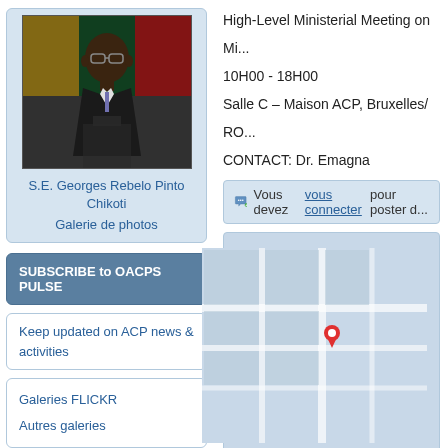[Figure (photo): Photo of S.E. Georges Rebelo Pinto Chikoti, a man in a dark suit speaking at a podium with flags in the background]
S.E. Georges Rebelo Pinto Chikoti
Galerie de photos
SUBSCRIBE to OACPS PULSE
Keep updated on ACP news & activities
Galeries FLICKR
Autres galeries
Annonces
Appel d'offres international pour l'équipement et la mise en place
High-Level Ministerial Meeting on Mi...
10H00 - 18H00
Salle C – Maison ACP, Bruxelles/ RO...
CONTACT: Dr. Emagna
Vous devez vous connecter pour poster d...
[Figure (map): Map showing location in Ixelles area with address details partially visible: R... Ixelles - ... e... T... F...]